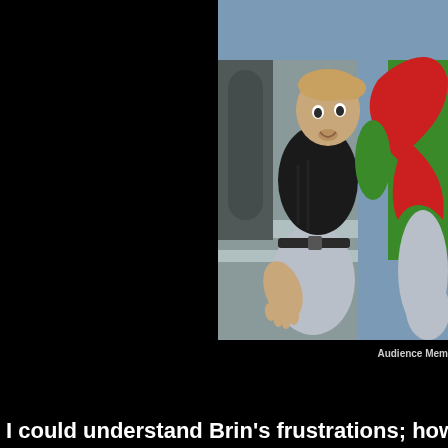[Figure (screenshot): 3D animated/video game screenshot showing a male character with short hair wearing a black jacket and grey pants, sitting or leaning against a grey surface. A figure in green and red costume is visible to the right. The background shows a grey interior space.]
Audience Mem
I could understand Brin's frustrations; howe